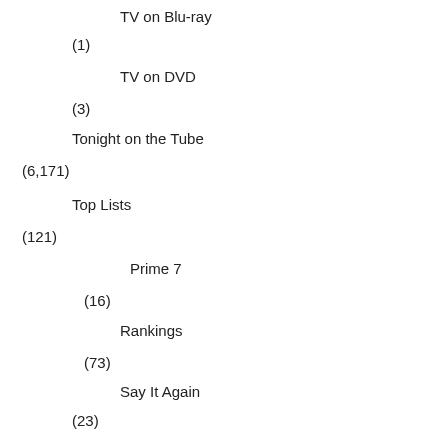TV on Blu-ray
(1)
TV on DVD
(3)
Tonight on the Tube
(6,171)
Top Lists
(121)
Prime 7
(16)
Rankings
(73)
Say It Again
(23)
TV on DVD/Streaming
(166)
New on Amazon